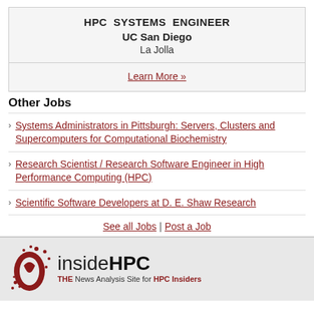HPC SYSTEMS ENGINEER
UC San Diego
La Jolla
Learn More »
Other Jobs
Systems Administrators in Pittsburgh: Servers, Clusters and Supercomputers for Computational Biochemistry
Research Scientist / Research Software Engineer in High Performance Computing (HPC)
Scientific Software Developers at D. E. Shaw Research
See all Jobs | Post a Job
[Figure (logo): insideHPC logo with tagline: THE News Analysis Site for HPC Insiders]